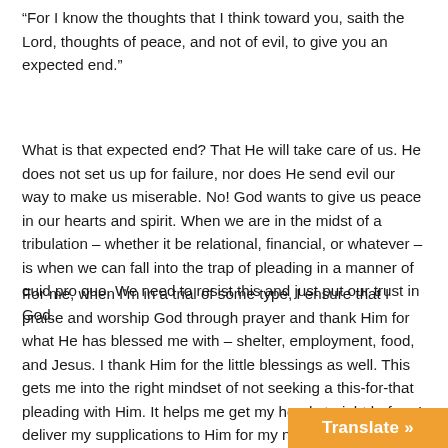“For I know the thoughts that I think toward you, saith the Lord, thoughts of peace, and not of evil, to give you an expected end.”
What is that expected end? That He will take care of us. He does not set us up for failure, nor does He send evil our way to make us miserable. No! God wants to give us peace in our hearts and spirit. When we are in the midst of a tribulation – whether it be relational, financial, or whatever – is when we can fall into the trap of pleading in a manner of quid pro quo. We need to resist this and just put our trust in God.
For me, when I’m in a trial of some type, I ensure that I praise and worship God through prayer and thank Him for what He has blessed me with – shelter, employment, food, and Jesus. I thank Him for the little blessings as well. This gets me into the right mindset of not seeking a this-for-that pleading with Him. It helps me get my head straight before I deliver my supplications to Him for my nee… that, whatever the outcome is, He is in con…